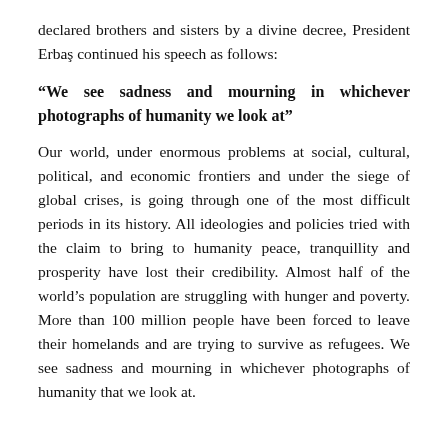declared brothers and sisters by a divine decree, President Erbaş continued his speech as follows:
“We see sadness and mourning in whichever photographs of humanity we look at”
Our world, under enormous problems at social, cultural, political, and economic frontiers and under the siege of global crises, is going through one of the most difficult periods in its history. All ideologies and policies tried with the claim to bring to humanity peace, tranquillity and prosperity have lost their credibility. Almost half of the world’s population are struggling with hunger and poverty. More than 100 million people have been forced to leave their homelands and are trying to survive as refugees. We see sadness and mourning in whichever photographs of humanity that we look at.